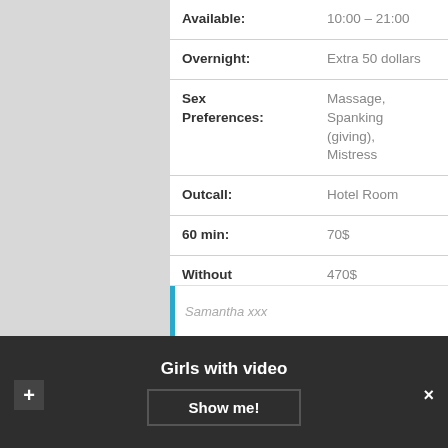| Field | Value |
| --- | --- |
| Available: | 10:00 – 21:00 |
| Overnight: | Extra 50 dollars |
| Sex Preferences: | Massage, Spanking (giving), Mistress |
| Outcall: | Hotel Room |
| 60 min: | 70$ |
| Without condom: | 470$ |
| Tits: | Small |
|  | VIDEO |
Samantha xxx
Girls with video
Show me!